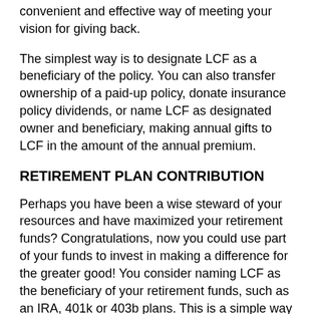convenient and effective way of meeting your vision for giving back.
The simplest way is to designate LCF as a beneficiary of the policy. You can also transfer ownership of a paid-up policy, donate insurance policy dividends, or name LCF as designated owner and beneficiary, making annual gifts to LCF in the amount of the annual premium.
RETIREMENT PLAN CONTRIBUTION
Perhaps you have been a wise steward of your resources and have maximized your retirement funds? Congratulations, now you could use part of your funds to invest in making a difference for the greater good! You consider naming LCF as the beneficiary of your retirement funds, such as an IRA, 401k or 403b plans. This is a simple way to realize your vision for giving back and benefitting the community, all while avoiding sometimes